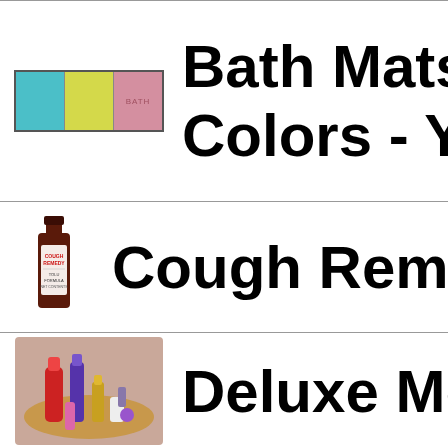[Figure (photo): Bath mats product image showing three colored mats in teal, yellow, and pink]
Bath Mats - Colors - Yel
[Figure (photo): Bottle of Cough Remedy medicine]
Cough Rem
[Figure (photo): Deluxe men's gift set on a tray with various grooming products]
Deluxe Men